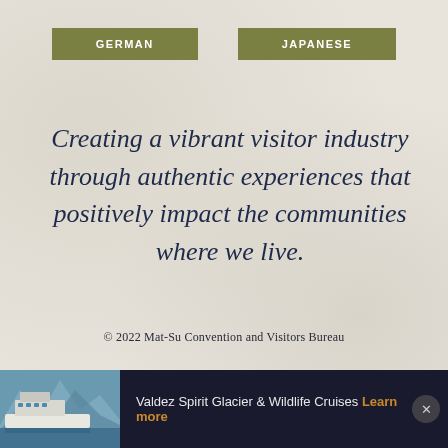GERMAN
JAPANESE
Creating a vibrant visitor industry through authentic experiences that positively impact the communities where we live.
© 2022 Mat-Su Convention and Visitors Bureau
made by simpleview
[Figure (infographic): Bottom ad bar showing a cruise ship with mountains and glaciers, advertising Valdez Spirit Glacier & Wildlife Cruises with a Learn more link]
Valdez Spirit Glacier & Wildlife Cruises Learn more